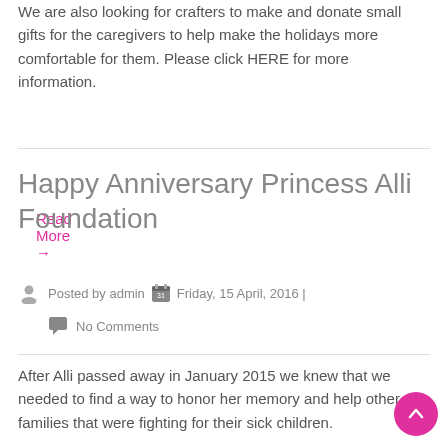We are also looking for crafters to make and donate small gifts for the caregivers to help make the holidays more comfortable for them. Please click HERE for more information.
Read More →
Happy Anniversary Princess Alli Foundation
Posted by admin | Friday, 15 April, 2016 |
No Comments
After Alli passed away in January 2015 we knew that we needed to find a way to honor her memory and help other families that were fighting for their sick children.